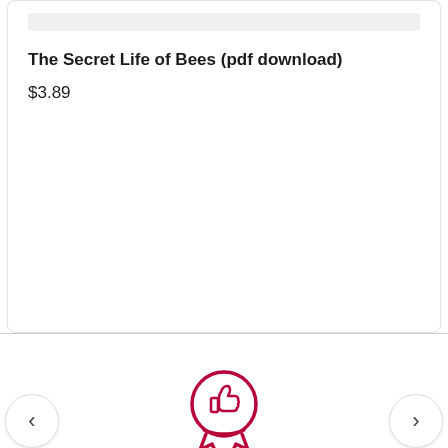The Secret Life of Bees (pdf download)
$3.89
[Figure (illustration): Award/badge icon with a thumbs-up symbol inside a circle and ribbon tails below, rendered in dark red/crimson outline style]
<
>